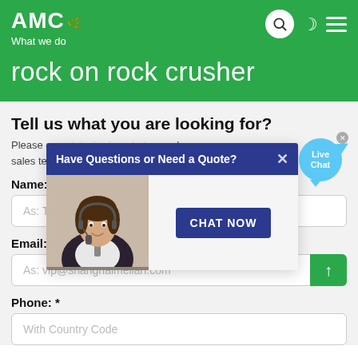AMC What we do
rock on rock crusher
Tell us what you are looking for?
Please complete the form below and our sales team will contact you shortly with our best prices.
[Figure (screenshot): Popup chat widget with header 'Have Questions or Need a Quote?' and a CHAT NOW button, with a customer service agent photo. Also shows a Live Chat speech bubble on the right.]
Name: *
As: Tom
Email: *
As: vip@shanghaimeilan.com
Phone: *
With Country Code